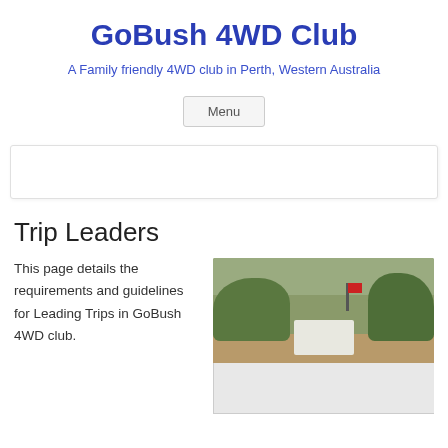GoBush 4WD Club
A Family friendly 4WD club in Perth, Western Australia
Menu
Trip Leaders
This page details the requirements and guidelines for Leading Trips in GoBush 4WD club.
[Figure (photo): A 4WD vehicle with a red flag on a bush dirt track, surrounded by vegetation]